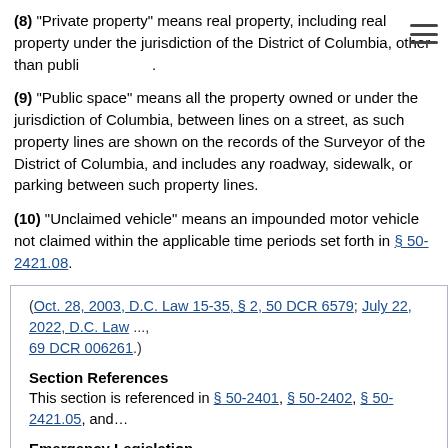(8) "Private property" means real property, including real property under the jurisdiction of the District of Columbia, other than publi[c space].
(9) "Public space" means all the property owned or under the jurisdiction of Columbia, between lines on a street, as such property lines are shown on the records of the Surveyor of the District of Columbia, and includes any roadway, sidewalk, or parking between such property lines.
(10) "Unclaimed vehicle" means an impounded motor vehicle not claimed within the applicable time periods set forth in § 50-2421.08.
(Oct. 28, 2003, D.C. Law 15-35, § 2, 50 DCR 6579; July 22, 2022, D.C. Law ..., 69 DCR 006261.)
Section References
This section is referenced in § 50-2401, § 50-2402, § 50-2421.05, and...
Emergency Legislation
For temporary (90 day) addition of this section, see § 2 of Removal of Abandoned and Other Unlawfully Parked Vehicles Reform Congress...